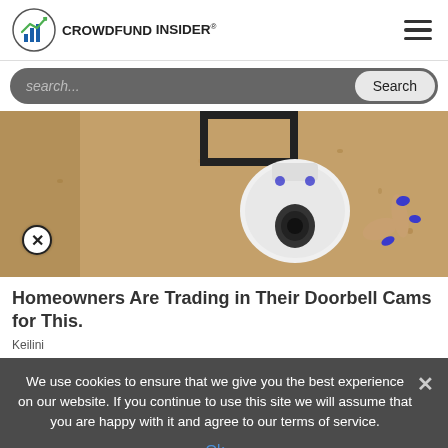CROWDFUND INSIDER®
[Figure (screenshot): Search bar with dark gray rounded rectangle background, placeholder text 'search...' in italic and a 'Search' button on the right]
[Figure (photo): A person with blue painted nails holding a white security camera mounted on a textured beige wall with a black metal bracket. There is a close/X button in the bottom left corner of the image.]
Homeowners Are Trading in Their Doorbell Cams for This.
Keilini
We use cookies to ensure that we give you the best experience on our website. If you continue to use this site we will assume that you are happy with it and agree to our terms of service.
Ok